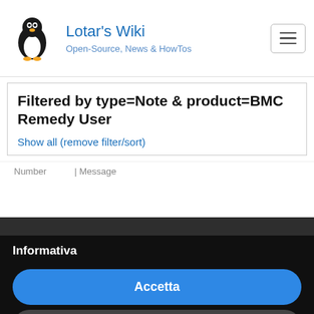Lotar's Wiki — Open-Source, News & HowTos
Filtered by type=Note & product=BMC Remedy User
Show all (remove filter/sort)
Number | Message
Informativa
Noi e terze parti selezionate utilizziamo cookie o tecnologie simili per finalità tecniche e, con il tuo consenso, anche per altre finalità come specificato nella cookie policy. Il rifiuto del consenso può rendere non disponibili le relative funzioni. Per quanto riguarda la pubblicità, noi e terze parti selezionate, potremmo utilizzare dati di geolocalizzazione precisi e l'identificazione attraverso la scansione del dispositivo, al fine di archiviare e/o accedere a informazioni su un dispositivo e trattare...
Accetta
Scopri di più e personalizza